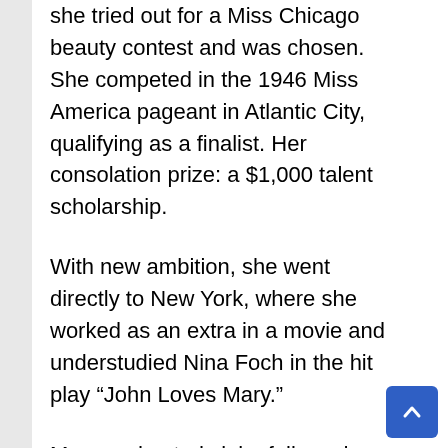she tried out for a Miss Chicago beauty contest and was chosen. She competed in the 1946 Miss America pageant in Atlantic City, qualifying as a finalist. Her consolation prize: a $1,000 talent scholarship.
With new ambition, she went directly to New York, where she worked as an extra in a movie and understudied Nina Foch in the hit play “John Loves Mary.”
More understudy jobs followed, and she enrolled at the Actors Studio to hone her craft. “I finally quit because of the smoking,” she said later. “I couldn’t stand that blue haze.”
In 1953, Leachman married George Englund, later a film director and producer, and they had